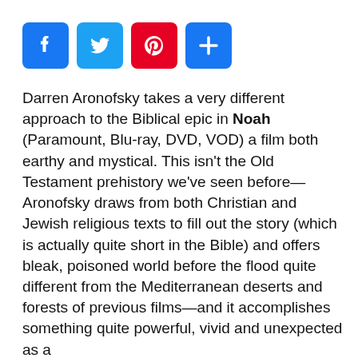[Figure (other): Row of four social media sharing icons: Facebook (blue), Twitter (blue), Pinterest (red), and a plus/share button (blue)]
Darren Aronofsky takes a very different approach to the Biblical epic in Noah (Paramount, Blu-ray, DVD, VOD) a film both earthy and mystical. This isn't the Old Testament prehistory we've seen before—Aronofsky draws from both Christian and Jewish religious texts to fill out the story (which is actually quite short in the Bible) and offers bleak, poisoned world before the flood quite different from the Mediterranean deserts and forests of previous films—and it accomplishes something quite powerful, vivid and unexpected as a